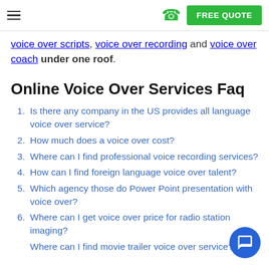FREE QUOTE
voice over scripts, voice over recording and voice over coach under one roof.
Online Voice Over Services Faq
Is there any company in the US provides all language voice over service?
How much does a voice over cost?
Where can I find professional voice recording services?
How can I find foreign language voice over talent?
Which agency those do Power Point presentation with voice over?
Where can I get voice over price for radio station imaging?
Where can I find movie trailer voice over service?